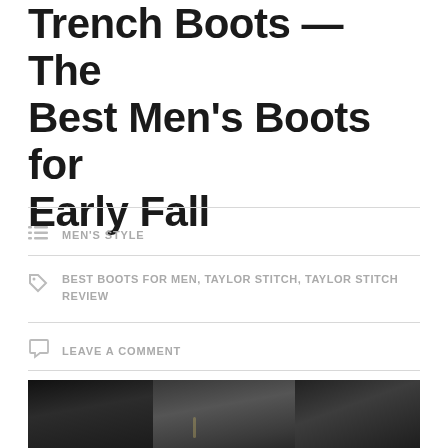Trench Boots — The Best Men's Boots for Early Fall
MEN'S STYLE
BEST BOOTS FOR MEN, TAYLOR STITCH, TAYLOR STITCH REVIEW
LEAVE A COMMENT
[Figure (photo): Close-up photograph of dark leather trench boots worn by a person, showing the lower leg area with dark pants and boots against a dark background]